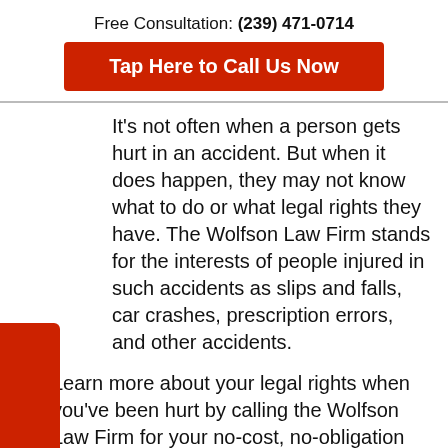Free Consultation: (239) 471-0714
Tap Here to Call Us Now
It's not often when a person gets hurt in an accident. But when it does happen, they may not know what to do or what legal rights they have. The Wolfson Law Firm stands for the interests of people injured in such accidents as slips and falls, car crashes, prescription errors, and other accidents.
Learn more about your legal rights when you've been hurt by calling the Wolfson Law Firm for your no-cost, no-obligation analysis of your case today at (239) 471-0714.